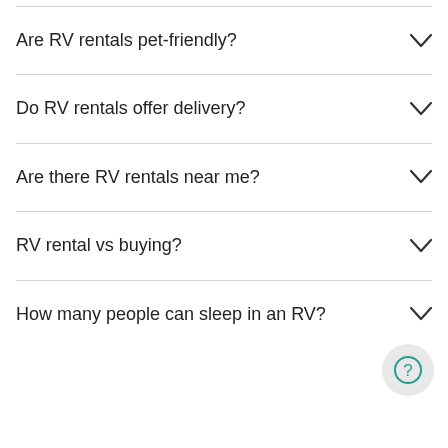Are RV rentals pet-friendly?
Do RV rentals offer delivery?
Are there RV rentals near me?
RV rental vs buying?
How many people can sleep in an RV?